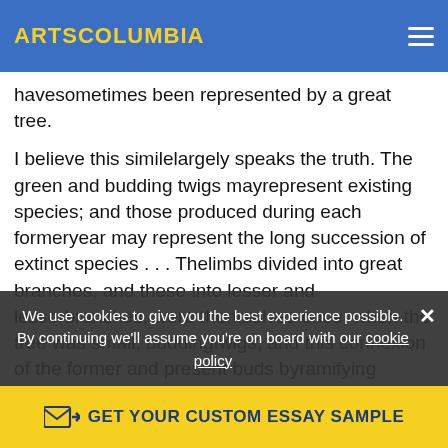ARTSCOLUMBIA
havesometimes been represented by a great tree. I believe this similelargely speaks the truth. The green and budding twigs mayrepresent existing species; and those produced during each formeryear may represent the long succession of extinct species . . . Thelimbs divided into great branches, and these into lesser and lesserbranches, were themselves once, when the tree was small, buddingtwigs; and this connexion of the former and present buds byramifying branches may well represent the classification of allextinct and living species in groups subordinate to groups…
We use cookies to give you the best experience possible. By continuing we'll assume you're on board with our cookie policy
GET YOUR CUSTOM ESSAY SAMPLE